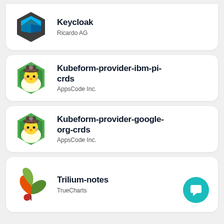[Figure (logo): Keycloak logo - dark hexagon with blue angular diamond shape]
Keycloak
Ricardo AG
[Figure (logo): Kubeform provider ibm pi crds logo - green hexagon with cartoon chick wearing brown hat]
Kubeform-provider-ibm-pi-crds
AppsCode Inc.
[Figure (logo): Kubeform provider google org crds logo - green hexagon with cartoon chick wearing brown hat]
Kubeform-provider-google-org-crds
AppsCode Inc.
[Figure (logo): Trilium-notes logo - colorful leaves illustration in orange, green and red]
Trilium-notes
TrueCharts